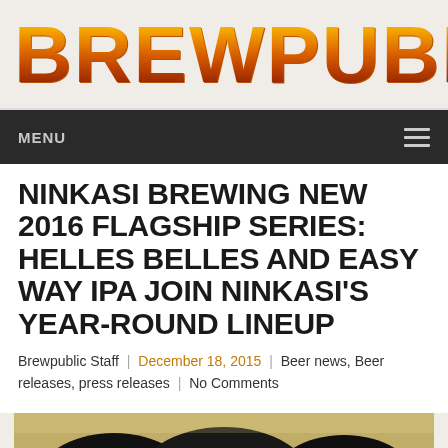BREWPUBLIC
MENU
NINKASI BREWING NEW 2016 FLAGSHIP SERIES: HELLES BELLES AND EASY WAY IPA JOIN NINKASI'S YEAR-ROUND LINEUP
Brewpublic Staff | December 18, 2015 | Beer news, Beer releases, press releases | No Comments
[Figure (photo): Photo of Ninkasi beer cans/bottles from above, dark circular tops visible against golden/tan background]